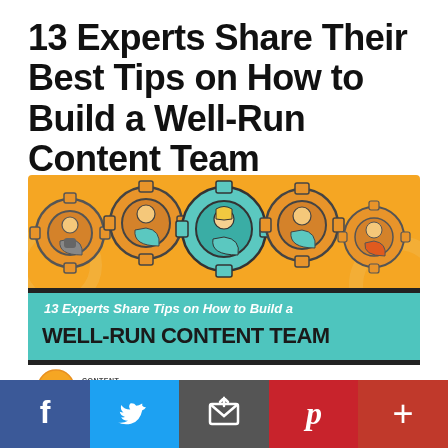13 Experts Share Their Best Tips on How to Build a Well-Run Content Team
[Figure (infographic): Infographic showing five cartoon people inside interlocking gear cogs on an orange background. Below the gears is a teal/black banner with text '13 Experts Share Tips on How to Build a WELL-RUN CONTENT TEAM' and the Content Marketing Institute logo with 'By Aaron Agius' credit.]
[Figure (infographic): Social media share bar with Facebook (blue), Twitter (light blue), Email (gray), Pinterest (red), and More (dark red) buttons.]